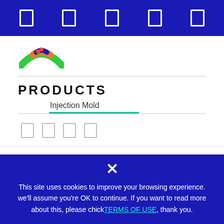Navigation bar with 5 icon placeholders
[Figure (logo): Company logo with colorful arc shape (green, orange, blue)]
PRODUCTS
Injection Mold
[Figure (infographic): Row of 4 small social/share icon placeholders]
This site uses cookies to improve your browsing experience. we'll assume you're OK to continue. If you want to read more about this, please chick TERMS OF USE, thank you.